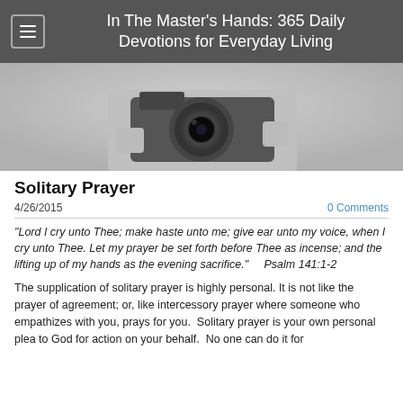In The Master's Hands: 365 Daily Devotions for Everyday Living
[Figure (photo): Black and white photo of a person holding a camera up to their face, lens pointed toward viewer]
Solitary Prayer
4/26/2015
0 Comments
“Lord I cry unto Thee; make haste unto me; give ear unto my voice, when I cry unto Thee. Let my prayer be set forth before Thee as incense; and the lifting up of my hands as the evening sacrifice.”    Psalm 141:1-2
The supplication of solitary prayer is highly personal. It is not like the prayer of agreement; or, like intercessory prayer where someone who empathizes with you, prays for you.  Solitary prayer is your own personal plea to God for action on your behalf.  No one can do it for